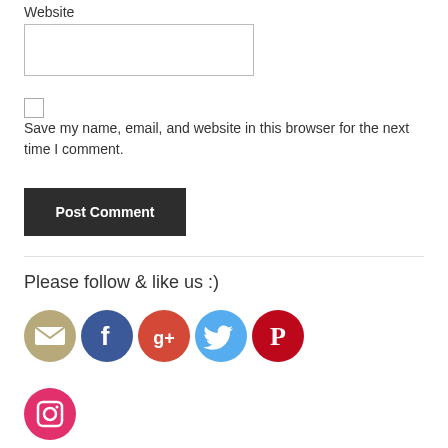Website
Save my name, email, and website in this browser for the next time I comment.
Post Comment
Please follow & like us :)
[Figure (illustration): Row of social media icons: email (beige envelope), Facebook (blue f), Google+ (red G+), Twitter (blue bird), Pinterest (red P), and Instagram (red camera) icons in circular format]